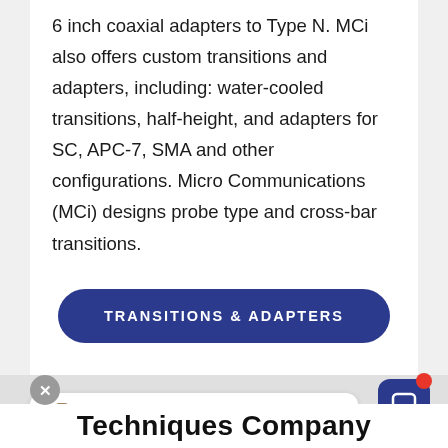6 inch coaxial adapters to Type N. MCi also offers custom transitions and adapters, including: water-cooled transitions, half-height, and adapters for SC, APC-7, SMA and other configurations. Micro Communications (MCi) designs probe type and cross-bar transitions.
[Figure (other): Dark blue rounded rectangle button with white bold uppercase text reading 'TRANSITIONS & ADAPTERS']
[Figure (other): Chat widget showing a close button (X), avatar photo of a person, text 'Questions? I'm happy to help.', and a dark blue rounded square chat icon with a red notification dot]
Techniques Company